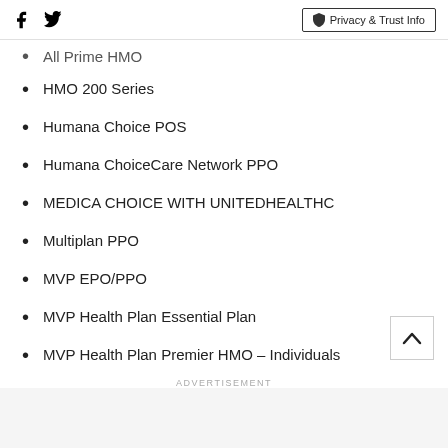Social icons: Facebook, Twitter | Privacy & Trust Info
All Prime HMO (partial, cut off)
HMO 200 Series
Humana Choice POS
Humana ChoiceCare Network PPO
MEDICA CHOICE WITH UNITEDHEALTHC
Multiplan PPO
MVP EPO/PPO
MVP Health Plan Essential Plan
MVP Health Plan Premier HMO - Individuals
MVP HMO (partial, cut off)
ADVERTISEMENT